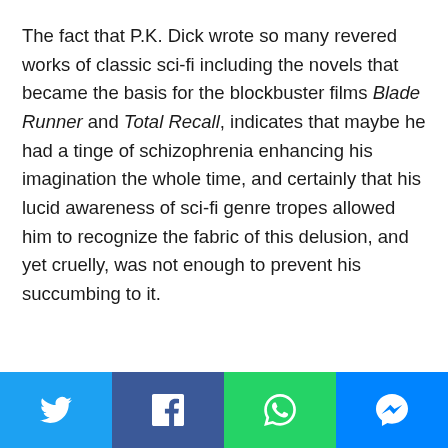The fact that P.K. Dick wrote so many revered works of classic sci-fi including the novels that became the basis for the blockbuster films Blade Runner and Total Recall, indicates that maybe he had a tinge of schizophrenia enhancing his imagination the whole time, and certainly that his lucid awareness of sci-fi genre tropes allowed him to recognize the fabric of this delusion, and yet cruelly, was not enough to prevent his succumbing to it.
[Figure (other): Social sharing bar with four buttons: Twitter (blue), Facebook (dark blue), WhatsApp (green), Messenger (blue)]